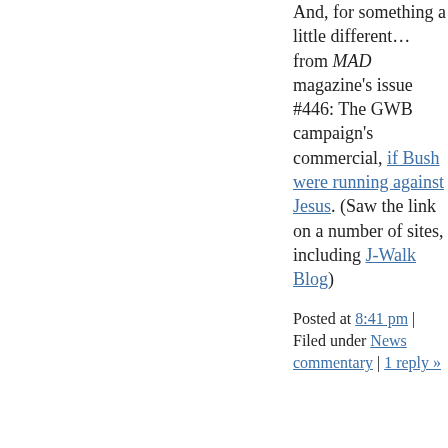And, for something a little different… from MAD magazine's issue #446: The GWB campaign's commercial, if Bush were running against Jesus. (Saw the link on a number of sites, including J-Walk Blog)
Posted at 8:41 pm | Filed under News commentary | 1 reply »